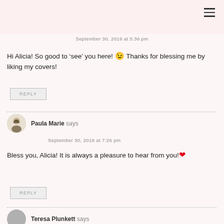September 30, 2019 at 5:36 pm
Hi Alicia! So good to ‘see’ you here! 😉 Thanks for blessing me by liking my covers!
REPLY
Paula Marie says
September 30, 2019 at 7:26 pm
Bless you, Alicia! It is always a pleasure to hear from you!❤️
REPLY
Teresa Plunkett says
September 30, 2019 at 4:39 pm